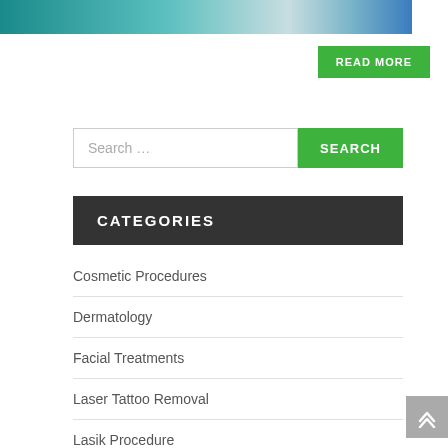[Figure (photo): Partial medical/clinical photo showing teal and light blue tones, cropped at top]
READ MORE
Search ...
CATEGORIES
Cosmetic Procedures
Dermatology
Facial Treatments
Laser Tattoo Removal
Lasik Procedure